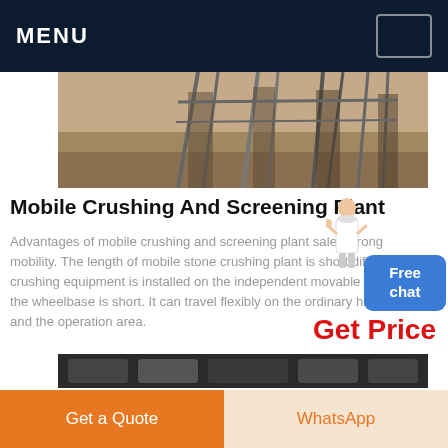MENU
[Figure (photo): Industrial outdoor construction or crushing plant facility with metal scaffolding structures and gravel ground]
Mobile Crushing And Screening Plant
Advantages of mobile crushing and screening plant sale. Strong mobility. The length of mobile stone crushing plant is short different crushing equipment is installed on the independent movable chassis the wheelbase is short. It can travel flexibly on the ordinary highway and the operation area.
Get Price
[Figure (photo): Partial view of another industrial product or machinery image at the bottom of the page]
Get a Quote
WhatsApp